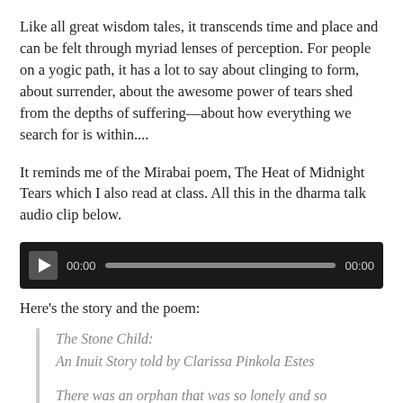Like all great wisdom tales, it transcends time and place and can be felt through myriad lenses of perception. For people on a yogic path, it has a lot to say about clinging to form, about surrender, about the awesome power of tears shed from the depths of suffering—about how everything we search for is within....
It reminds me of the Mirabai poem, The Heat of Midnight Tears which I also read at class. All this in the dharma talk audio clip below.
[Figure (other): Audio player widget with dark background, play button, progress bar showing 00:00 on both sides]
Here's the story and the poem:
The Stone Child:
An Inuit Story told by Clarissa Pinkola Estes

There was an orphan that was so lonely and so